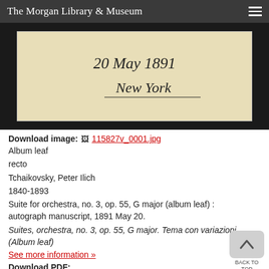The Morgan Library & Museum
[Figure (photo): Handwritten manuscript fragment on cream/beige paper against dark background, showing cursive text '20 May 1891 New York']
Download image: 115827v_0001.jpg
Album leaf
recto
Tchaikovsky, Peter Ilich
1840-1893
Suite for orchestra, no. 3, op. 55, G major (album leaf) : autograph manuscript, 1891 May 20.
Suites, orchestra, no. 3, op. 55, G major. Tema con variazioni (Album leaf)
See more information »
Download PDF:
| Attachment | Size |
| --- | --- |